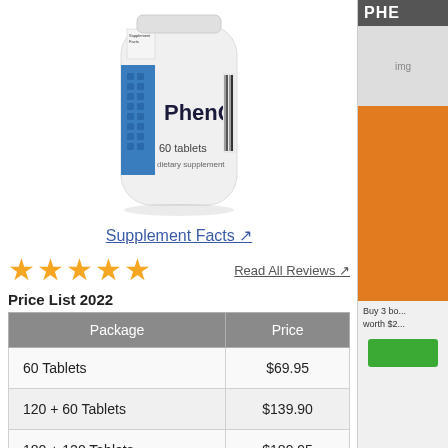[Figure (photo): PhenQ dietary supplement bottle, 60 tablets, white bottle with blue label]
Supplement Facts ↗
[Figure (other): Five orange/gold star rating (approximately 4.5 out of 5 stars)]
Read All Reviews ↗
Price List 2022
| Package | Price |
| --- | --- |
| 60 Tablets | $69.95 |
| 120 + 60 Tablets | $139.90 |
| 180 + 120 Tablets | $189.95 |
[Figure (other): Right sidebar with PHE header, orange background, text about buying 3 bottles worth $2xx, and green button]